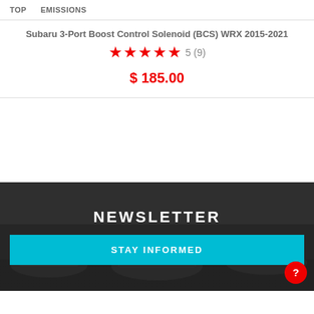TOP   EMISSIONS
Subaru 3-Port Boost Control Solenoid (BCS) WRX 2015-2021
★★★★★ 5 (9)
$ 185.00
NEWSLETTER
STAY INFORMED